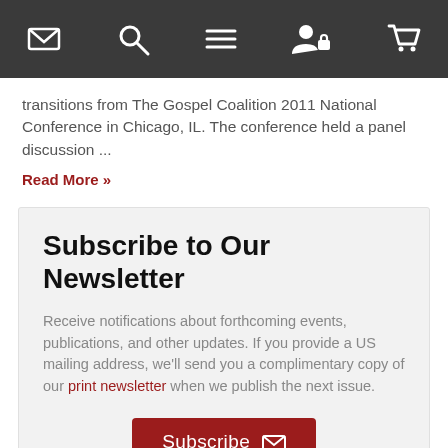[navigation bar with icons: email, search, menu, user/lock, cart]
transitions from The Gospel Coalition 2011 National Conference in Chicago, IL. The conference held a panel discussion ...
Read More »
Subscribe to Our Newsletter
Receive notifications about forthcoming events, publications, and other updates. If you provide a US mailing address, we'll send you a complimentary copy of our print newsletter when we publish the next issue.
Subscribe